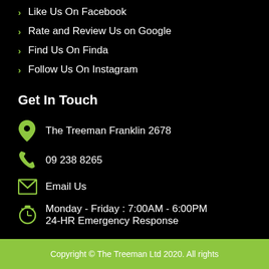Like Us On Facebook
Rate and Review Us on Google
Find Us On Finda
Follow Us On Instagram
Get In Touch
The Treeman Franklin 2678
09 238 8265
Email Us
Monday - Friday : 7:00AM - 6:00PM
24-HR Emergency Response
Copyright © The Treeman Ltd 2020. All rights